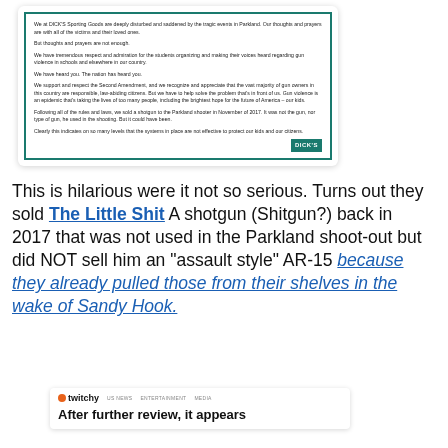[Figure (screenshot): Dick's Sporting Goods statement card with teal border. Text reads their response to the Parkland shooting, expressing disturbance, support for students, respect for Second Amendment, and admitting they sold a shotgun to the Parkland shooter in November 2017. Ends with Dick's Sporting Goods logo.]
This is hilarious were it not so serious. Turns out they sold The Little Shit A shotgun (Shitgun?) back in 2017 that was not used in the Parkland shoot-out but did NOT sell him an "assault style" AR-15 because they already pulled those from their shelves in the wake of Sandy Hook.
[Figure (screenshot): Twitchy website screenshot showing navigation bar with logo (orange circle + twitchy text), nav items US NEWS, ENTERTAINMENT, MEDIA, and beginning of headline 'After further review, it appears']